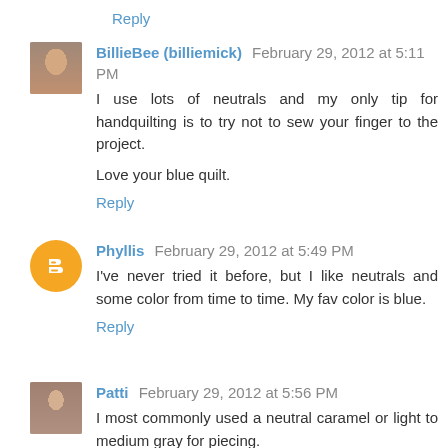Reply
BillieBee (billiemick) February 29, 2012 at 5:11 PM
I use lots of neutrals and my only tip for handquilting is to try not to sew your finger to the project.

Love your blue quilt.
Reply
Phyllis February 29, 2012 at 5:49 PM
I've never tried it before, but I like neutrals and some color from time to time. My fav color is blue.
Reply
Patti February 29, 2012 at 5:56 PM
I most commonly used a neutral caramel or light to medium gray for piecing.